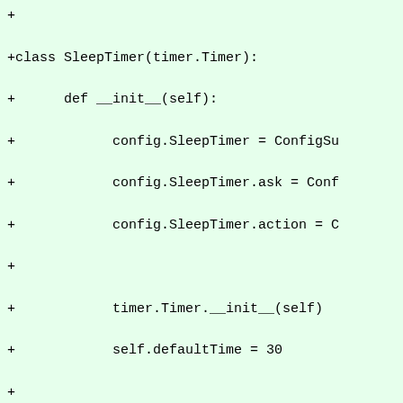[Figure (other): Code diff snippet showing Python class SleepTimer with methods __init__, setSleepTime, clear, and getCurrentSleepTime, displayed on a green background with '+' markers indicating added lines.]